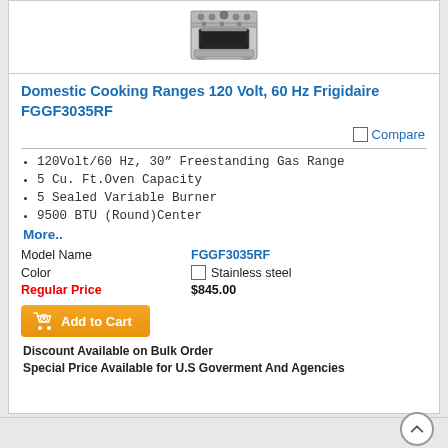[Figure (photo): Product photo of Frigidaire FGGF3035RF cooking range, stainless steel stove appliance]
Domestic Cooking Ranges 120 Volt, 60 Hz Frigidaire FGGF3035RF
Compare
120Volt/60 Hz, 30” Freestanding Gas Range
5 Cu. Ft.Oven Capacity
5 Sealed Variable Burner
9500 BTU (Round)Center
More..
Model Name  FGGF3035RF
Color  Stainless steel
Regular Price  $845.00
Add to Cart
Discount Available on Bulk Order
Special Price Available for U.S Goverment And Agencies